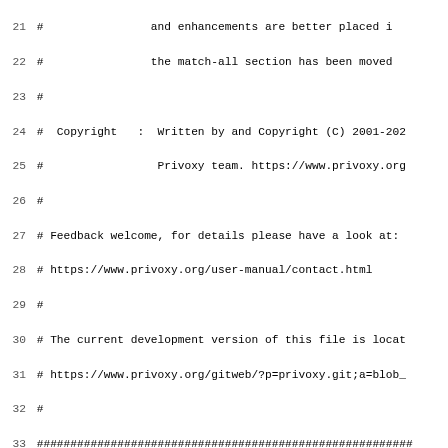Lines 21-52 of Privoxy configuration/actions file comments showing syntax documentation including Copyright, Feedback, Syntax, Pattern Syntax sections